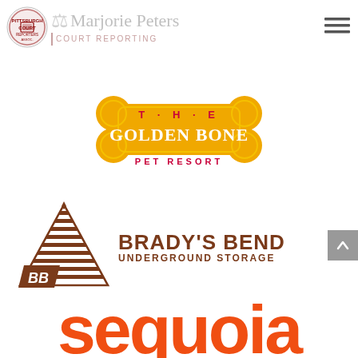[Figure (logo): Marjorie Peters Court Reporting logo with scales of justice icon and circular badge]
[Figure (logo): The Golden Bone Pet Resort logo with bone shape in gold/yellow]
[Figure (logo): Brady's Bend Underground Storage logo with triangular striped pyramid and BB monogram]
[Figure (logo): Sequoia logo in large bold orange text]